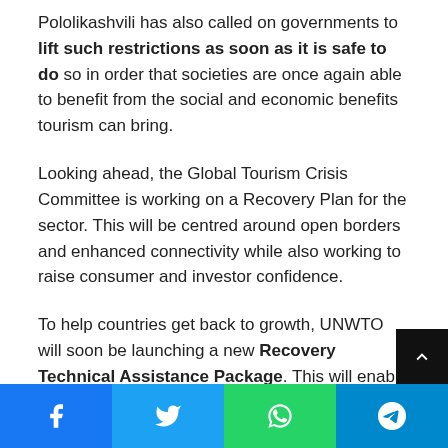Pololikashvili has also called on governments to lift such restrictions as soon as it is safe to do so in order that societies are once again able to benefit from the social and economic benefits tourism can bring.
Looking ahead, the Global Tourism Crisis Committee is working on a Recovery Plan for the sector. This will be centred around open borders and enhanced connectivity while also working to raise consumer and investor confidence.
To help countries get back to growth, UNWTO will soon be launching a new Recovery Technical Assistance Package. This will enable its Member States to build capacity and better market and promote their tourism sector in the challenging months ahead.